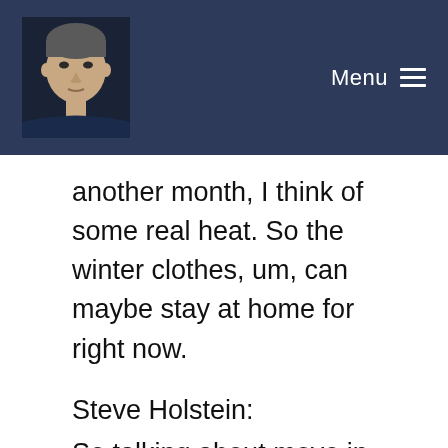Menu
[Figure (photo): Headshot of a man against a dark background]
another month, I think of some real heat. So the winter clothes, um, can maybe stay at home for right now.
Steve Holstein:
So talking about move in and it is kind of a community fair and it's certainly a campus wide event. Uh, Kaci, if I just want to show up Thursday morning, uh, on the 19th and, uh, just help students move in, where